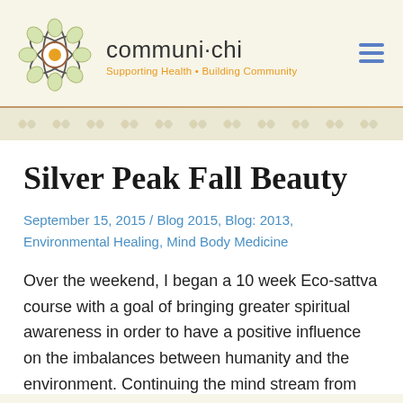[Figure (logo): communi-chi logo: stylized flower/atom SVG with orange center and circular orbit lines]
communi·chi
Supporting Health • Building Community
Silver Peak Fall Beauty
September 15, 2015 / Blog 2015, Blog: 2013, Environmental Healing, Mind Body Medicine
Over the weekend, I began a 10 week Eco-sattva course with a goal of bringing greater spiritual awareness in order to have a positive influence on the imbalances between humanity and the environment. Continuing the mind stream from my